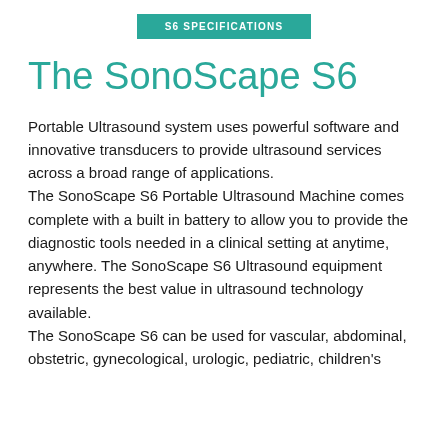S6 SPECIFICATIONS
The SonoScape S6
Portable Ultrasound system uses powerful software and innovative transducers to provide ultrasound services across a broad range of applications.
The SonoScape S6 Portable Ultrasound Machine comes complete with a built in battery to allow you to provide the diagnostic tools needed in a clinical setting at anytime, anywhere. The SonoScape S6 Ultrasound equipment represents the best value in ultrasound technology available.
The SonoScape S6 can be used for vascular, abdominal, obstetric, gynecological, urologic, pediatric, children's...